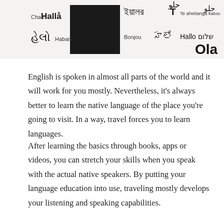[Figure (illustration): A composite image showing 'Hello' written in many different world languages and scripts, with a silhouetted figure in the center. Languages visible include: Chao, Hallå, इ-यालर, T, Te aheitanga katoa (Arabic script), हेलो, Habari, Bonjou, హలో, Hallo, שלום, Ola]
English is spoken in almost all parts of the world and it will work for you mostly. Nevertheless, it's always better to learn the native language of the place you're going to visit. In a way, travel forces you to learn languages.
After learning the basics through books, apps or videos, you can stretch your skills when you speak with the actual native speakers. By putting your language education into use, traveling mostly develops your listening and speaking capabilities.